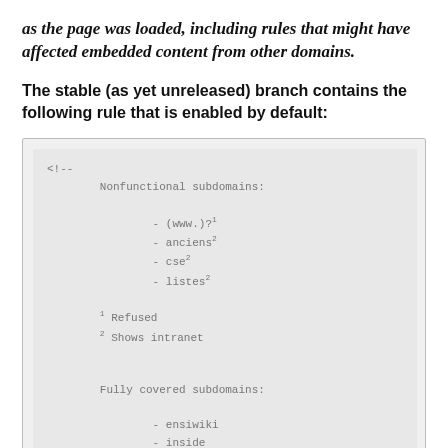as the page was loaded, including rules that might have affected embedded content from other domains.
The stable (as yet unreleased) branch contains the following rule that is enabled by default:
[Figure (screenshot): Code block showing HTML comment with Nonfunctional subdomains list: - (www.)? 1, - anciens 2, - cse 2, - listes 2, with footnotes 1 Refused, 2 Shows intranet, and Fully covered subdomains: - ensiwiki, - inside, - intranet, - relint]